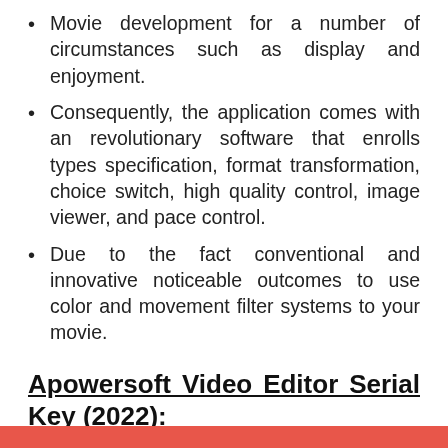Movie development for a number of circumstances such as display and enjoyment.
Consequently, the application comes with an revolutionary software that enrolls types specification, format transformation, choice switch, high quality control, image viewer, and pace control.
Due to the fact conventional and innovative noticeable outcomes to use color and movement filter systems to your movie.
Apowersoft Video Editor Serial Key (2022):